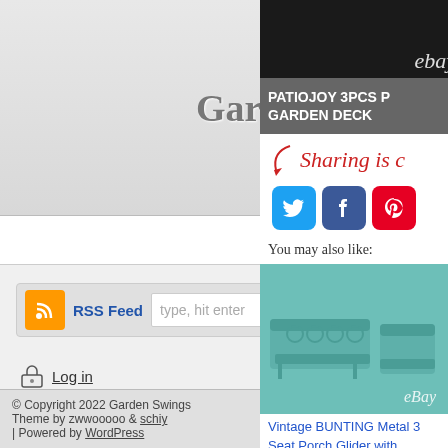Garden Swings
Home
RSS Feed | type, hit enter
Log in
© Copyright 2022 Garden Swings Theme by zwwooooo & schiy | Powered by WordPress
[Figure (screenshot): eBay product image dark background with eBay logo]
PATIOJOY 3PCS P GARDEN DECK
Sharing is c
[Figure (infographic): Social sharing icons: Twitter, Facebook, Pinterest]
You may also like:
[Figure (photo): Vintage BUNTING Metal 3 Seat Porch Glider with Bouncy Chair Set in teal/turquoise color on eBay]
Vintage BUNTING Metal 3 Seat Porch Glider with Bouncy Chair Set Restored Pie